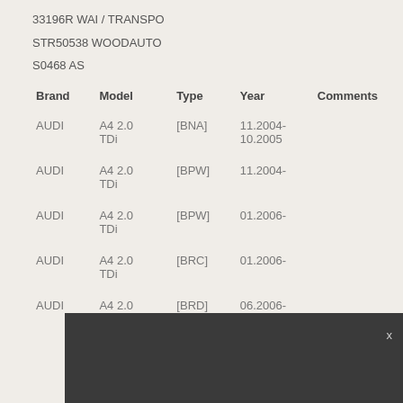33196R WAI / TRANSPO
STR50538 WOODAUTO
S0468 AS
| Brand | Model | Type | Year | Comments |
| --- | --- | --- | --- | --- |
| AUDI | A4 2.0 TDi | [BNA] | 11.2004-10.2005 |  |
| AUDI | A4 2.0 TDi | [BPW] | 11.2004- |  |
| AUDI | A4 2.0 TDi | [BPW] | 01.2006- |  |
| AUDI | A4 2.0 TDi | [BRC] | 01.2006- |  |
| AUDI | A4 2.0 TDi | [BRD] | 06.2006- |  |